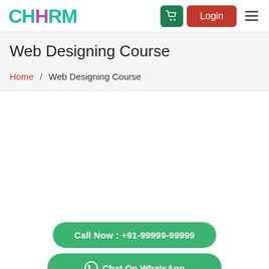CHHRM
Web Designing Course
Home / Web Designing Course
Call Now : +91-99999-99999
Chat On WhatsApp